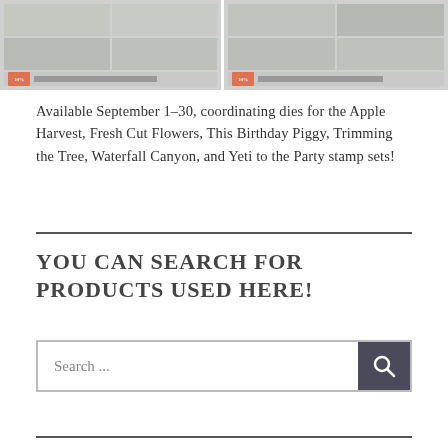[Figure (screenshot): Two side-by-side product catalog images showing stamp sets with 10% badge labels and small text below each image panel.]
Available September 1–30, coordinating dies for the Apple Harvest, Fresh Cut Flowers, This Birthday Piggy, Trimming the Tree, Waterfall Canyon, and Yeti to the Party stamp sets!
YOU CAN SEARCH FOR PRODUCTS USED HERE!
Search ...